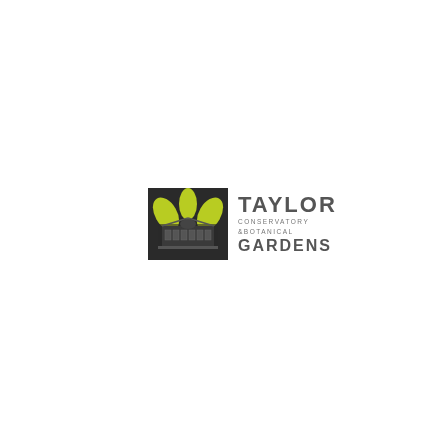[Figure (logo): Taylor Conservatory & Botanical Gardens logo. Left side: dark square background with yellow-green stylized flower/plant icon. Right side: text reading TAYLOR in large bold gray caps, below it CONSERVATORY & BOTANICAL in small gray caps, then GARDENS in large bold gray caps.]